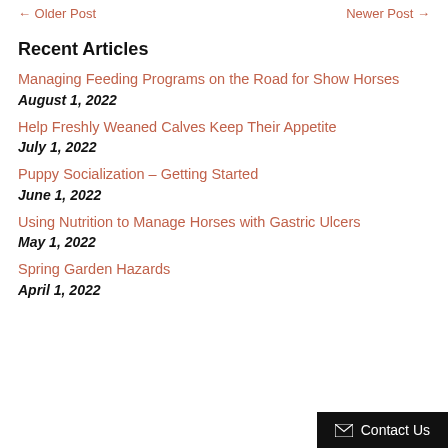← Older Post    Newer Post →
Recent Articles
Managing Feeding Programs on the Road for Show Horses
August 1, 2022
Help Freshly Weaned Calves Keep Their Appetite
July 1, 2022
Puppy Socialization – Getting Started
June 1, 2022
Using Nutrition to Manage Horses with Gastric Ulcers
May 1, 2022
Spring Garden Hazards
April 1, 2022